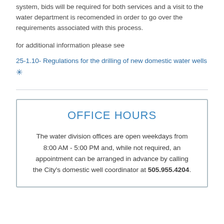system, bids will be required for both services and a visit to the water department is recomended in order to go over the requirements associated with this process.
for additional information please see
25-1.10- Regulations for the drilling of new domestic water wells ✳
OFFICE HOURS
The water division offices are open weekdays from 8:00 AM - 5:00 PM and, while not required, an appointment can be arranged in advance by calling the City's domestic well coordinator at 505.955.4204.